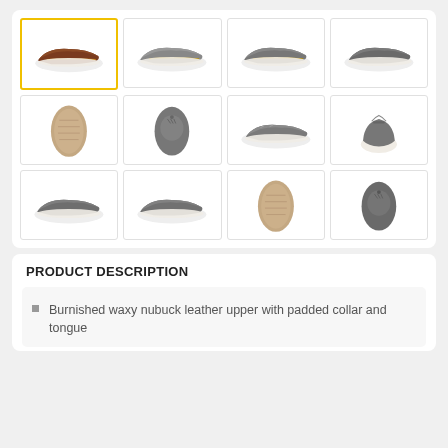[Figure (photo): Product thumbnail gallery showing 12 shoe images in a 4x3 grid. First image (selected, yellow border) shows a brown leather sneaker from the side. Other images show the same sneaker in gray from various angles: side, top, sole, front.]
PRODUCT DESCRIPTION
Burnished waxy nubuck leather upper with padded collar and tongue